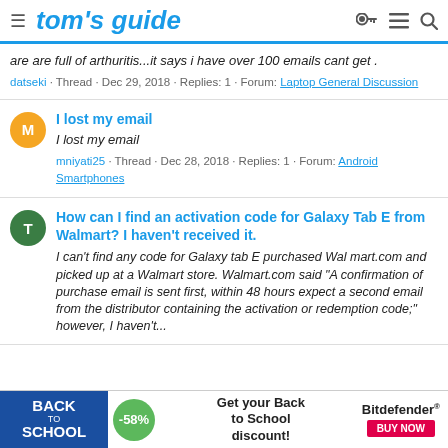tom's guide
are are full of arthuritis...it says i have over 100 emails cant get .
datseki · Thread · Dec 29, 2018 · Replies: 1 · Forum: Laptop General Discussion
I lost my email
I lost my email
mniyati25 · Thread · Dec 28, 2018 · Replies: 1 · Forum: Android Smartphones
How can I find an activation code for Galaxy Tab E from Walmart? I haven't received it.
I can't find any code for Galaxy tab E purchased Wal mart.com and picked up at a Walmart store. Walmart.com said "A confirmation of purchase email is sent first, within 48 hours expect a second email from the distributor containing the activation or redemption code;" however, I haven't...
[Figure (infographic): Back to School advertisement banner: BackToSchool logo on blue background, -58% green badge, 'Get your Back to School discount!' text, Bitdefender brand with BUY NOW red button]